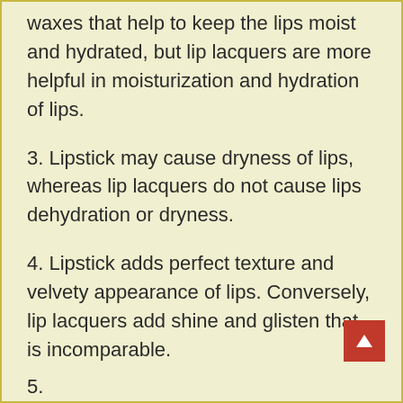waxes that help to keep the lips moist and hydrated, but lip lacquers are more helpful in moisturization and hydration of lips.
3. Lipstick may cause dryness of lips, whereas lip lacquers do not cause lips dehydration or dryness.
4. Lipstick adds perfect texture and velvety appearance of lips. Conversely, lip lacquers add shine and glisten that is incomparable.
5. (partial, cut off)